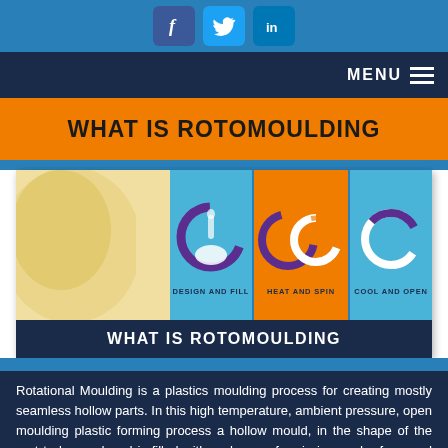Social media icons: Facebook, Twitter, LinkedIn
MENU
WHAT IS ROTOMOULDING
[Figure (infographic): Three-step rotomoulding process diagram: DESIGN AND FILL (blue panel with purple ring pouring liquid), HEAT AND SPIN (orange panel with purple and white rings spinning), COOL AND OPEN (blue panel with white ring)]
WHAT IS ROTOMOULDING
Rotational Moulding is a plastics moulding process for creating mostly seamless hollow parts. In this high temperature, ambient pressure, open moulding plastic forming process a hollow mould, in the shape of the part to be produced is filled with a charge of resin in powder form and then rotated biaxially. The rotation is at low RPM around 2 perpendicular axes, in a heated oven.